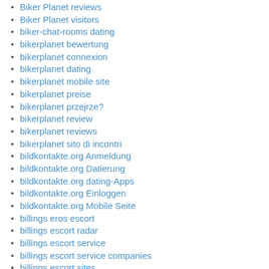Biker Planet reviews
Biker Planet visitors
biker-chat-rooms dating
bikerplanet bewertung
bikerplanet connexion
bikerplanet dating
bikerplanet mobile site
bikerplanet preise
bikerplanet przejrze?
bikerplanet review
bikerplanet reviews
bikerplanet sito di incontri
bildkontakte.org Anmeldung
bildkontakte.org Datierung
bildkontakte.org dating-Apps
bildkontakte.org Einloggen
bildkontakte.org Mobile Seite
billings eros escort
billings escort radar
billings escort service
billings escort service companies
billings escort sites
billings the escort